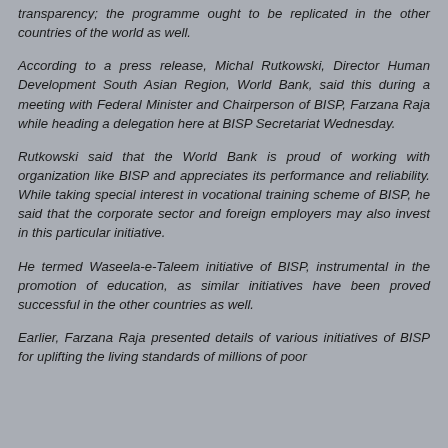transparency; the programme ought to be replicated in the other countries of the world as well.
According to a press release, Michal Rutkowski, Director Human Development South Asian Region, World Bank, said this during a meeting with Federal Minister and Chairperson of BISP, Farzana Raja while heading a delegation here at BISP Secretariat Wednesday.
Rutkowski said that the World Bank is proud of working with organization like BISP and appreciates its performance and reliability. While taking special interest in vocational training scheme of BISP, he said that the corporate sector and foreign employers may also invest in this particular initiative.
He termed Waseela-e-Taleem initiative of BISP, instrumental in the promotion of education, as similar initiatives have been proved successful in the other countries as well.
Earlier, Farzana Raja presented details of various initiatives of BISP for uplifting the living standards of millions of poor